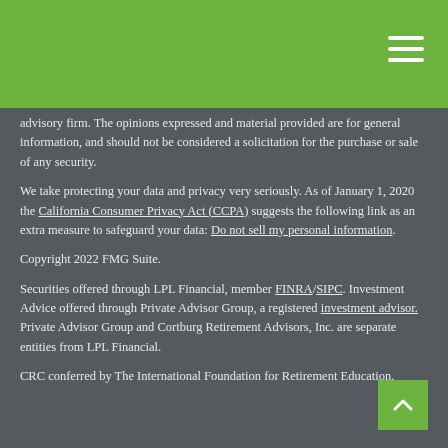advisory firm. The opinions expressed and material provided are for general information, and should not be considered a solicitation for the purchase or sale of any security.
We take protecting your data and privacy very seriously. As of January 1, 2020 the California Consumer Privacy Act (CCPA) suggests the following link as an extra measure to safeguard your data: Do not sell my personal information.
Copyright 2022 FMG Suite.
Securities offered through LPL Financial, member FINRA/SIPC. Investment Advice offered through Private Advisor Group, a registered investment advisor. Private Advisor Group and Cortburg Retirement Advisors, Inc. are separate entities from LPL Financial.
CRC conferred by The International Foundation for Retirement Education.